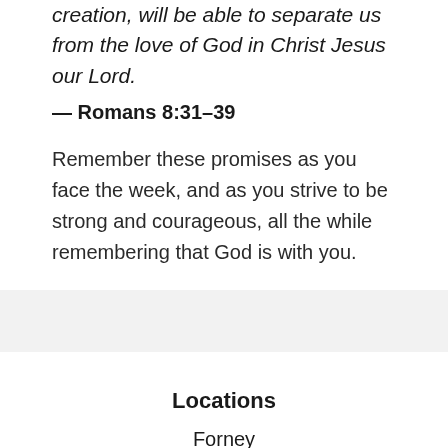creation, will be able to separate us from the love of God in Christ Jesus our Lord.
— Romans 8:31–39
Remember these promises as you face the week, and as you strive to be strong and courageous, all the while remembering that God is with you.
Locations
Forney